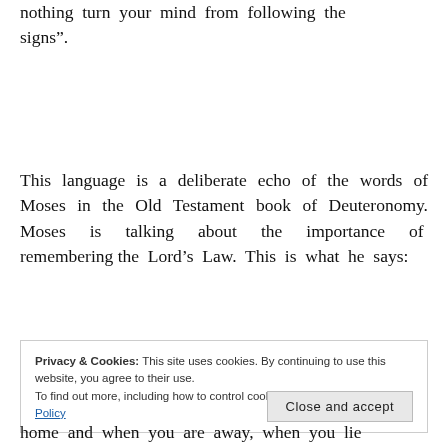nothing turn your mind from following the signs”.
This language is a deliberate echo of the words of Moses in the Old Testament book of Deuteronomy. Moses is talking about the importance of remembering the Lord’s Law. This is what he says:
Privacy & Cookies: This site uses cookies. By continuing to use this website, you agree to their use. To find out more, including how to control cookies, see here: Cookie Policy
home and when you are away, when you lie